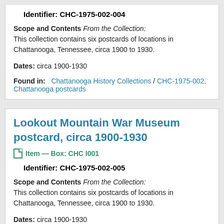Identifier: CHC-1975-002-004
Scope and Contents From the Collection: This collection contains six postcards of locations in Chattanooga, Tennessee, circa 1900 to 1930.
Dates: circa 1900-1930
Found in: Chattanooga History Collections / CHC-1975-002, Chattanooga postcards
Lookout Mountain War Museum postcard, circa 1900-1930
Item — Box: CHC I001
Identifier: CHC-1975-002-005
Scope and Contents From the Collection: This collection contains six postcards of locations in Chattanooga, Tennessee, circa 1900 to 1930.
Dates: circa 1900-1930
Found in: Chattanooga History Collections / CHC-1975-002, Chattanooga postcards